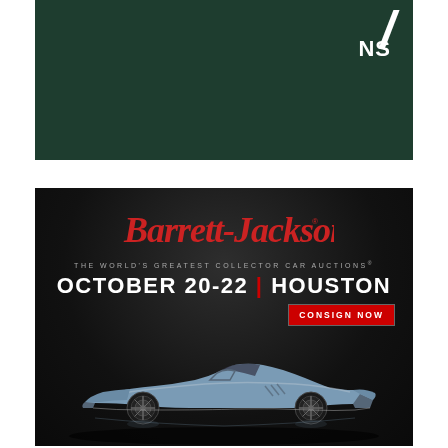[Figure (other): Dark green banner with a white slash/logo mark and 'NS' text in upper right corner]
[Figure (other): Barrett-Jackson auction advertisement on dark background. Features the Barrett-Jackson cursive logo, tagline 'THE WORLD'S GREATEST COLLECTOR CAR AUCTIONS', event details 'OCTOBER 20-22 | HOUSTON', a 'CONSIGN NOW' button, and a blue classic Corvette convertible photographed from the side.]